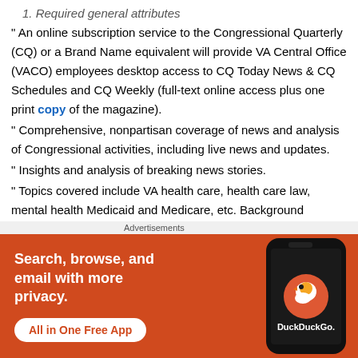1. Required general attributes
" An online subscription service to the Congressional Quarterly (CQ) or a Brand Name equivalent will provide VA Central Office (VACO) employees desktop access to CQ Today News & CQ Schedules and CQ Weekly (full-text online access plus one print copy of the magazine).
" Comprehensive, nonpartisan coverage of news and analysis of Congressional activities, including live news and updates.
" Insights and analysis of breaking news stories.
" Topics covered include VA health care, health care law, mental health Medicaid and Medicare, etc. Background
[Figure (screenshot): DuckDuckGo advertisement banner with orange background. Text reads: 'Search, browse, and email with more privacy. All in One Free App' with DuckDuckGo logo and a smartphone graphic.]